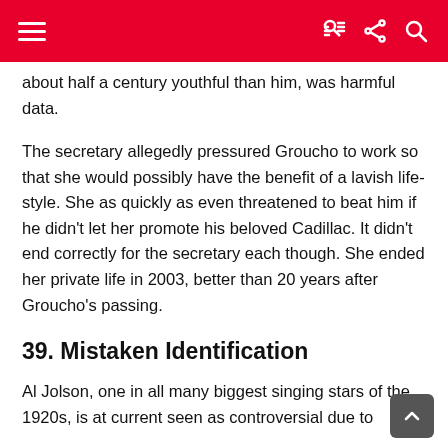about half a century youthful than him, was harmful data.
The secretary allegedly pressured Groucho to work so that she would possibly have the benefit of a lavish life-style. She as quickly as even threatened to beat him if he didn't let her promote his beloved Cadillac. It didn't end correctly for the secretary each though. She ended her private life in 2003, better than 20 years after Groucho's passing.
39. Mistaken Identification
Al Jolson, one in all many biggest singing stars of the 1920s, is at current seen as controversial due to